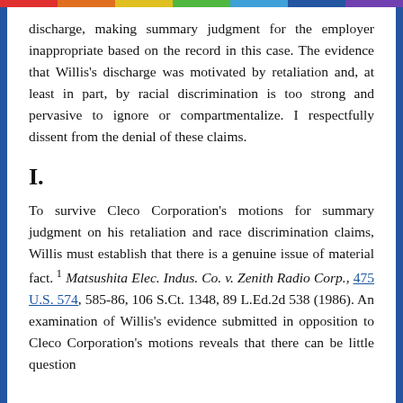discharge, making summary judgment for the employer inappropriate based on the record in this case. The evidence that Willis's discharge was motivated by retaliation and, at least in part, by racial discrimination is too strong and pervasive to ignore or compartmentalize. I respectfully dissent from the denial of these claims.
I.
To survive Cleco Corporation's motions for summary judgment on his retaliation and race discrimination claims, Willis must establish that there is a genuine issue of material fact. 1 Matsushita Elec. Indus. Co. v. Zenith Radio Corp., 475 U.S. 574, 585-86, 106 S.Ct. 1348, 89 L.Ed.2d 538 (1986). An examination of Willis's evidence submitted in opposition to Cleco Corporation's motions reveals that there can be little question